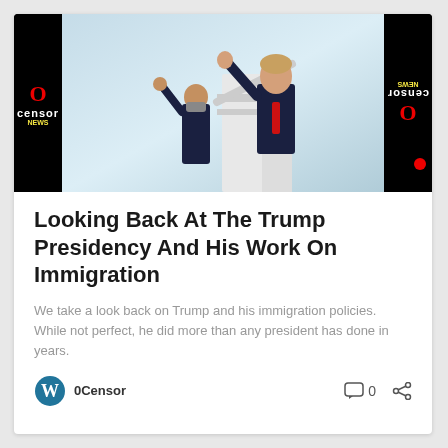[Figure (photo): Photo of two people waving on airplane stairs, with 0Censor News logo on black side bars]
Looking Back At The Trump Presidency And His Work On Immigration
We take a look back on Trump and his immigration policies. While not perfect, he did more than any president has done in years.
0Censor   0